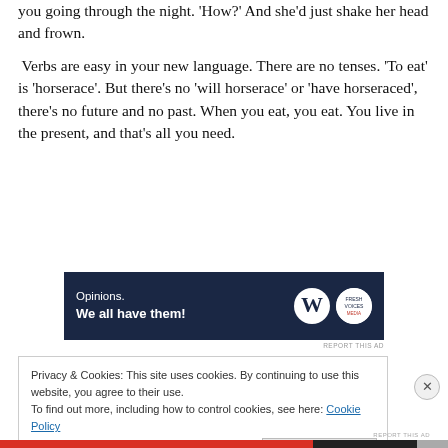you going through the night. 'How?' And she'd just shake her head and frown.
Verbs are easy in your new language. There are no tenses. 'To eat' is 'horserace'. But there's no 'will horserace' or 'have horseraced', there's no future and no past. When you eat, you eat. You live in the present, and that's all you need.
[Figure (infographic): Advertisement banner with dark navy background reading 'Opinions. We all have them!' with WordPress and Fresh Voices logos]
REPORT THIS AD
Privacy & Cookies: This site uses cookies. By continuing to use this website, you agree to their use.
To find out more, including how to control cookies, see here: Cookie Policy
Close and accept